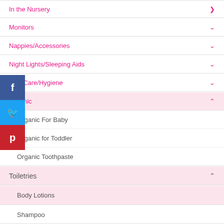In the Nursery
Monitors
Nappies/Accessories
Night Lights/Sleeping Aids
Oral Care/Hygiene
Organic (expanded)
Organic For Baby
Organic for Toddler
Organic Toothpaste
Toiletries (expanded)
Body Lotions
Shampoo